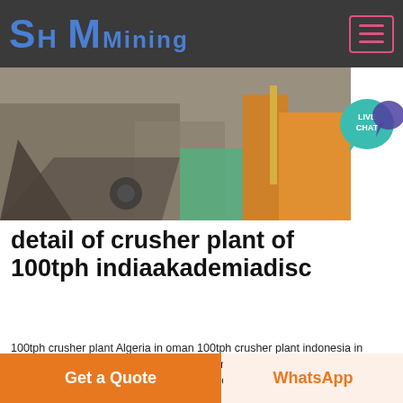SH MMining
[Figure (photo): Aerial/overhead view of a quarry or mining/crushing site with heavy equipment, stone piles, and an orange shipping container]
[Figure (other): Live Chat bubble icon in teal/purple]
detail of crusher plant of 100tph indiaakademiadisc
100tph crusher plant Algeria in oman 100tph crusher plant indonesia in oman 100tph crusher plant indonesia in oman This type of stone crushing plant has been installed inIndia South
Click to chat
[Figure (photo): Industrial tanks/silos - brown/red cylindrical tanks on left, white equipment on right]
Get a Quote
WhatsApp